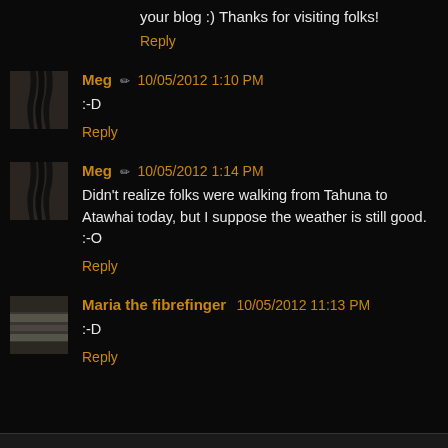your blog :) Thanks for visiting folks!
Reply
Meg ✏ 10/05/2012 1:10 PM
:-D
Reply
Meg ✏ 10/05/2012 1:14 PM
Didn't realize folks were walking from Tahuna to Atawhai today, but I suppose the weather is still good. :-O
Reply
Maria the fibrefinger  10/05/2012 11:13 PM
:-D
Reply